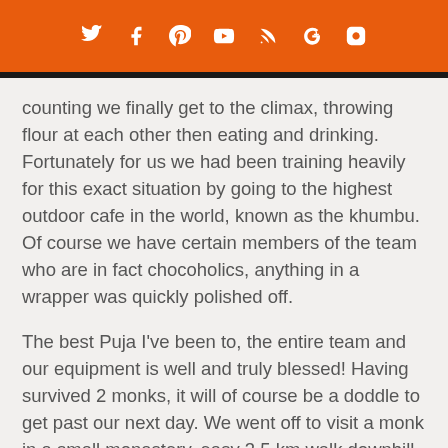Social media icons bar (Twitter, Facebook, Pinterest, YouTube, RSS, Google+, Instagram)
counting we finally get to the climax, throwing flour at each other then eating and drinking. Fortunately for us we had been training heavily for this exact situation by going to the highest outdoor cafe in the world, known as the khumbu. Of course we have certain members of the team who are in fact chocoholics, anything in a wrapper was quickly polished off.
The best Puja I've been to, the entire team and our equipment is well and truly blessed! Having survived 2 monks, it will of course be a doddle to get past our next day. We went off to visit a monk in a small monastery, easy 3.5 km walk downhill. It was nice he remembered